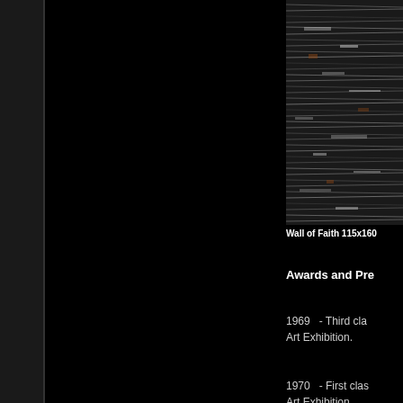[Figure (photo): Abstract textured artwork titled Wall of Faith, appears to be a mixed-media or photographic work with dense layered stripes and textures in dark tones with white and color highlights]
Wall of Faith 115x160
Awards and Pre
1969   - Third cla Art Exhibition.
1970   - First clas Art Exhibition.